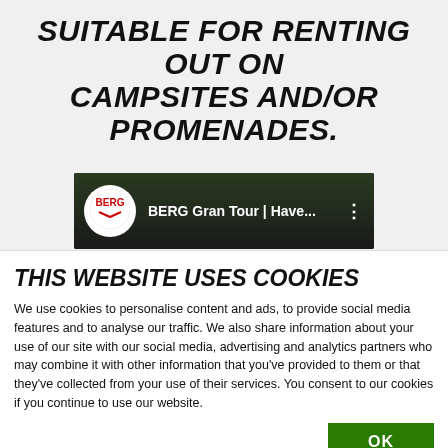SUITABLE FOR RENTING OUT ON CAMPSITES AND/OR PROMENADES.
[Figure (screenshot): A YouTube video thumbnail showing BERG Gran Tour video with BERG logo circle and dark outdoor background with text 'BERG Gran Tour | Have...']
THIS WEBSITE USES COOKIES
We use cookies to personalise content and ads, to provide social media features and to analyse our traffic. We also share information about your use of our site with our social media, advertising and analytics partners who may combine it with other information that you've provided to them or that they've collected from your use of their services. You consent to our cookies if you continue to use our website.
OK
Necessary  Preferences  Statistics  Marketing  Show details